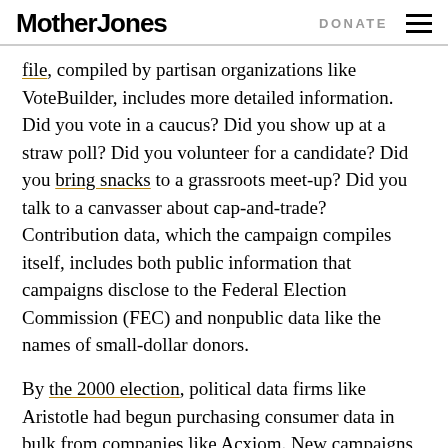Mother Jones | DONATE
file, compiled by partisan organizations like VoteBuilder, includes more detailed information. Did you vote in a caucus? Did you show up at a straw poll? Did you volunteer for a candidate? Did you bring snacks to a grassroots meet-up? Did you talk to a canvasser about cap-and-trade? Contribution data, which the campaign compiles itself, includes both public information that campaigns disclose to the Federal Election Commission (FEC) and nonpublic data like the names of small-dollar donors.
By the 2000 election, political data firms like Aristotle had begun purchasing consumer data in bulk from companies like Acxiom. New campaigns…